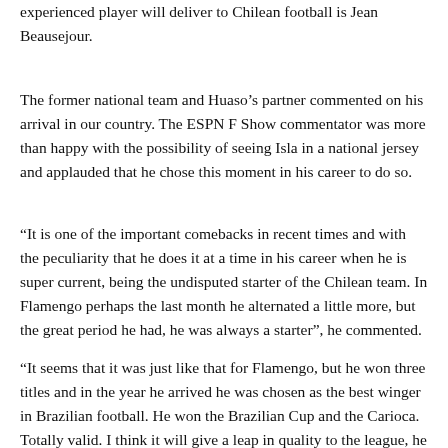experienced player will deliver to Chilean football is Jean Beausejour.
The former national team and Huaso's partner commented on his arrival in our country. The ESPN F Show commentator was more than happy with the possibility of seeing Isla in a national jersey and applauded that he chose this moment in his career to do so.
“It is one of the important comebacks in recent times and with the peculiarity that he does it at a time in his career when he is super current, being the undisputed starter of the Chilean team. In Flamengo perhaps the last month he alternated a little more, but the great period he had, he was always a starter”, he commented.
“It seems that it was just like that for Flamengo, but he won three titles and in the year he arrived he was chosen as the best winger in Brazilian football. He won the Brazilian Cup and the Carioca. Totally valid. I think it will give a leap in quality to the league, he is